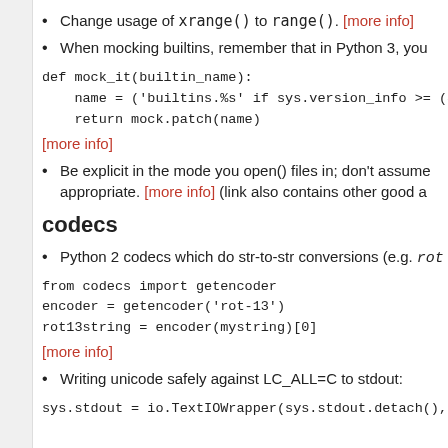Change usage of xrange() to range(). [more info]
When mocking builtins, remember that in Python 3, you
def mock_it(builtin_name):
    name = ('builtins.%s' if sys.version_info >= (3,)
    return mock.patch(name)
[more info]
Be explicit in the mode you open() files in; don't assume appropriate. [more info] (link also contains other good a
codecs
Python 2 codecs which do str-to-str conversions (e.g. rot
from codecs import getencoder
encoder = getencoder('rot-13')
rot13string = encoder(mystring)[0]
[more info]
Writing unicode safely against LC_ALL=C to stdout:
sys.stdout = io.TextIOWrapper(sys.stdout.detach(), e